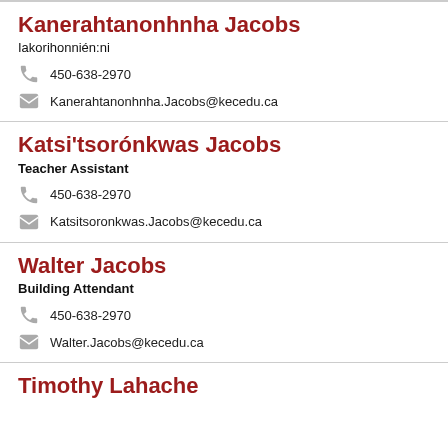Kanerahtanonhnha Jacobs
Iakorihonnién:ni
450-638-2970
Kanerahtanonhnha.Jacobs@kecedu.ca
Katsi'tsorónkwas Jacobs
Teacher Assistant
450-638-2970
Katsitsoronkwas.Jacobs@kecedu.ca
Walter Jacobs
Building Attendant
450-638-2970
Walter.Jacobs@kecedu.ca
Timothy Lahache